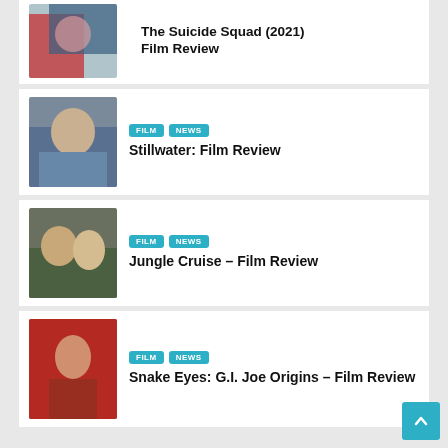[Figure (photo): Thumbnail image for The Suicide Squad (2021) Film Review]
The Suicide Squad (2021) Film Review
[Figure (photo): Thumbnail image for Stillwater: Film Review]
FILM   NEWS
Stillwater: Film Review
[Figure (photo): Thumbnail image for Jungle Cruise – Film Review]
FILM   NEWS
Jungle Cruise – Film Review
[Figure (photo): Thumbnail image for Snake Eyes: G.I. Joe Origins – Film Review]
FILM   NEWS
Snake Eyes: G.I. Joe Origins – Film Review